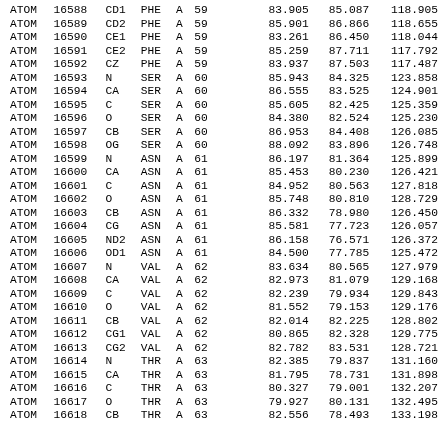| Record | Serial | Atom | Res | Chain | SeqNo |  | X | Y | Z |
| --- | --- | --- | --- | --- | --- | --- | --- | --- | --- |
| ATOM | 16588 | CD1 | PHE | A | 59 |  | 83.905 | 85.087 | 118.905 |
| ATOM | 16589 | CD2 | PHE | A | 59 |  | 85.901 | 86.866 | 118.655 |
| ATOM | 16590 | CE1 | PHE | A | 59 |  | 83.261 | 86.450 | 118.044 |
| ATOM | 16591 | CE2 | PHE | A | 59 |  | 85.259 | 87.711 | 117.792 |
| ATOM | 16592 | CZ | PHE | A | 59 |  | 83.937 | 87.503 | 117.487 |
| ATOM | 16593 | N | SER | A | 60 |  | 85.943 | 84.325 | 123.858 |
| ATOM | 16594 | CA | SER | A | 60 |  | 86.555 | 83.525 | 124.901 |
| ATOM | 16595 | C | SER | A | 60 |  | 85.605 | 82.425 | 125.359 |
| ATOM | 16596 | O | SER | A | 60 |  | 84.380 | 82.524 | 125.230 |
| ATOM | 16597 | CB | SER | A | 60 |  | 86.953 | 84.408 | 126.085 |
| ATOM | 16598 | OG | SER | A | 60 |  | 88.092 | 83.896 | 126.748 |
| ATOM | 16599 | N | ASN | A | 61 |  | 86.197 | 81.364 | 125.899 |
| ATOM | 16600 | CA | ASN | A | 61 |  | 85.453 | 80.230 | 126.421 |
| ATOM | 16601 | C | ASN | A | 61 |  | 84.952 | 80.563 | 127.818 |
| ATOM | 16602 | O | ASN | A | 61 |  | 85.748 | 80.810 | 128.729 |
| ATOM | 16603 | CB | ASN | A | 61 |  | 86.332 | 78.980 | 126.450 |
| ATOM | 16604 | CG | ASN | A | 61 |  | 85.581 | 77.723 | 126.057 |
| ATOM | 16605 | ND2 | ASN | A | 61 |  | 86.158 | 76.571 | 126.372 |
| ATOM | 16606 | OD1 | ASN | A | 61 |  | 84.500 | 77.785 | 125.472 |
| ATOM | 16607 | N | VAL | A | 62 |  | 83.634 | 80.565 | 127.979 |
| ATOM | 16608 | CA | VAL | A | 62 |  | 82.973 | 81.079 | 129.168 |
| ATOM | 16609 | C | VAL | A | 62 |  | 82.239 | 79.934 | 129.843 |
| ATOM | 16610 | O | VAL | A | 62 |  | 81.552 | 79.153 | 129.176 |
| ATOM | 16611 | CB | VAL | A | 62 |  | 82.014 | 82.225 | 128.802 |
| ATOM | 16612 | CG1 | VAL | A | 62 |  | 80.865 | 82.328 | 129.775 |
| ATOM | 16613 | CG2 | VAL | A | 62 |  | 82.782 | 83.531 | 128.721 |
| ATOM | 16614 | N | THR | A | 63 |  | 82.385 | 79.837 | 131.160 |
| ATOM | 16615 | CA | THR | A | 63 |  | 81.795 | 78.731 | 131.898 |
| ATOM | 16616 | C | THR | A | 63 |  | 80.327 | 79.001 | 132.207 |
| ATOM | 16617 | O | THR | A | 63 |  | 79.927 | 80.131 | 132.495 |
| ATOM | 16618 | CB | THR | A | 63 |  | 82.556 | 78.493 | 133.198 |